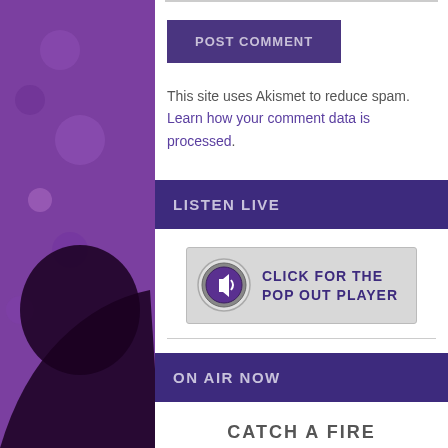POST COMMENT
This site uses Akismet to reduce spam. Learn how your comment data is processed.
LISTEN LIVE
[Figure (other): Click for the pop out player button with speaker icon]
ON AIR NOW
CATCH A FIRE